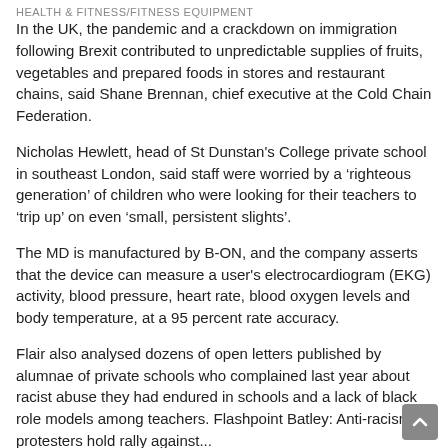HEALTH & FITNESS/FITNESS EQUIPMENT
In the UK, the pandemic and a crackdown on immigration following Brexit contributed to unpredictable supplies of fruits, vegetables and prepared foods in stores and restaurant chains, said Shane Brennan, chief executive at the Cold Chain Federation.
Nicholas Hewlett, head of St Dunstan's College private school in southeast London, said staff were worried by a ‘righteous generation’ of children who were looking for their teachers to ‘trip up’ on even ‘small, persistent slights’.
The MD is manufactured by B-ON, and the company asserts that the device can measure a user's electrocardiogram (EKG) activity, blood pressure, heart rate, blood oxygen levels and body temperature, at a 95 percent rate accuracy.
Flair also analysed dozens of open letters published by alumnae of private schools who complained last year about racist abuse they had endured in schools and a lack of black role models among teachers. Flashpoint Batley: Anti-racism protesters hold rally against...
This will be a difficult outcome for some of our students but the t...